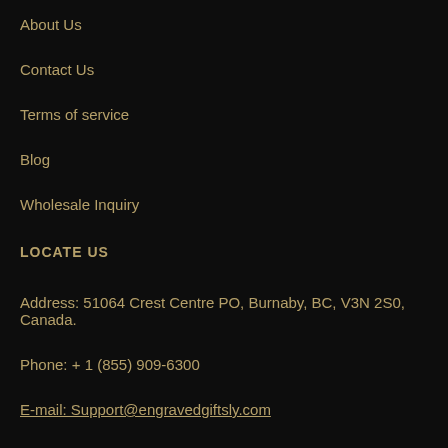About Us
Contact Us
Terms of service
Blog
Wholesale Inquiry
LOCATE US
Address: 51064 Crest Centre PO, Burnaby, BC, V3N 2S0, Canada.
Phone: + 1 (855) 909-6300
E-mail: Support@engravedgiftsly.com
You can also call us at
Monday to Friday - 11:00 AM to 7:00 PM